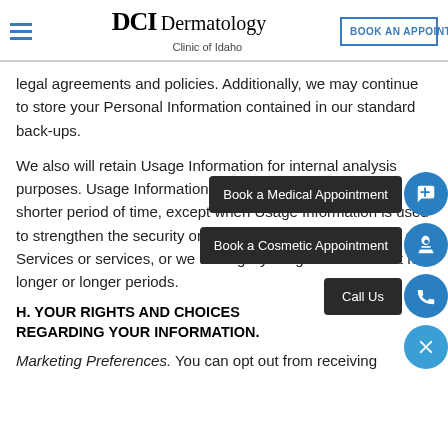DCI Dermatology Clinic of Idaho | BOOK AN APPOINTMENT
legal agreements and policies. Additionally, we may continue to store your Personal Information contained in our standard back-ups.
We also will retain Usage Information for internal analysis purposes. Usage Information is generally retained for a shorter period of time, except when Usage Information is used to strengthen the security or to improve the functionality of our Services or services, or we are legally obligated to retain it for longer or longer periods.
H. YOUR RIGHTS AND CHOICES REGARDING YOUR INFORMATION.
Marketing Preferences. You can opt out from receiving